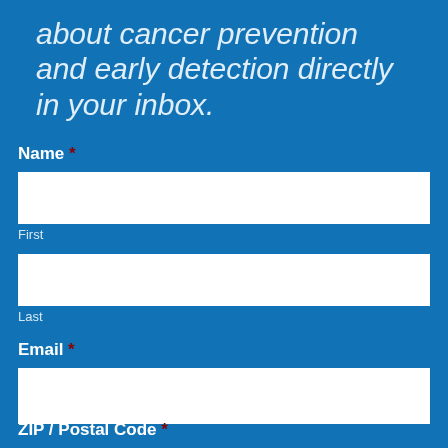about cancer prevention and early detection directly in your inbox.
Name *
First
Last
Email *
ZIP / Postal Code *